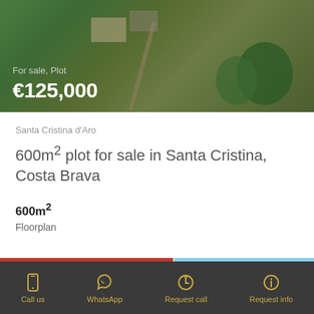[Figure (photo): Aerial view of a plot of land surrounded by trees, with a road and buildings visible]
For sale, Plot
€125,000
Santa Cristina d'Aro
600m² plot for sale in Santa Cristina, Costa Brava
600m²
Floorplan
This website uses cookies to ensure you get the best experience on our website. View privacy policy
[Figure (photo): Partial view of a second property photo showing sky]
Call us | WhatsApp | Request call | Request info